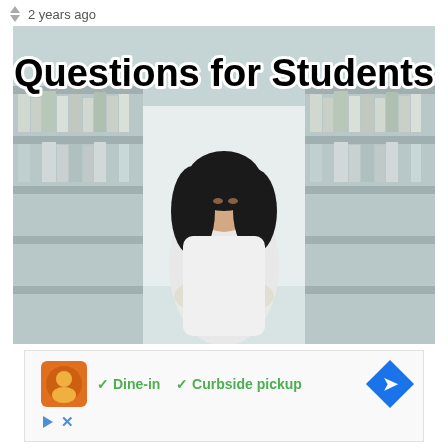2 years ago
[Figure (photo): A young woman with long dark hair reading a book in a library corridor with bookshelves on both sides. Text overlay reads 'Questions for Students' in large bold black font with white outline.]
✓ Dine-in  ✓ Curbside pickup